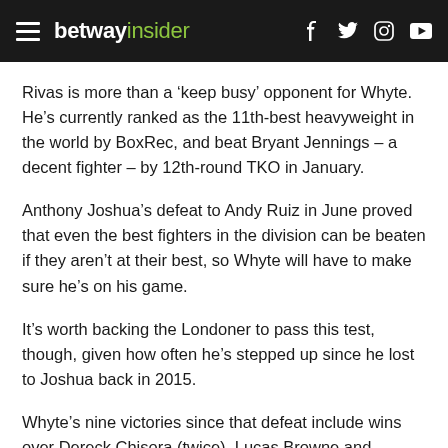betway insider
Rivas is more than a ‘keep busy’ opponent for Whyte. He’s currently ranked as the 11th-best heavyweight in the world by BoxRec, and beat Bryant Jennings – a decent fighter – by 12th-round TKO in January.
Anthony Joshua’s defeat to Andy Ruiz in June proved that even the best fighters in the division can be beaten if they aren’t at their best, so Whyte will have to make sure he’s on his game.
It’s worth backing the Londoner to pass this test, though, given how often he’s stepped up since he lost to Joshua back in 2015.
Whyte’s nine victories since that defeat include wins over Dereck Chisora (twice), Lucas Browne and Joseph Parker.